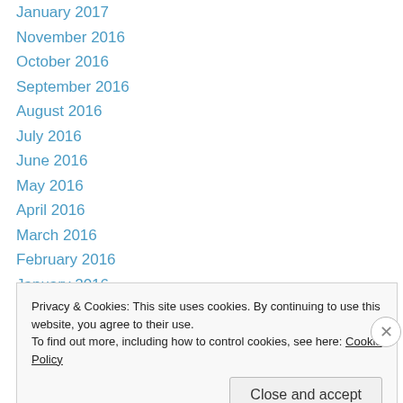January 2017
November 2016
October 2016
September 2016
August 2016
July 2016
June 2016
May 2016
April 2016
March 2016
February 2016
January 2016
December 2015
Privacy & Cookies: This site uses cookies. By continuing to use this website, you agree to their use.
To find out more, including how to control cookies, see here: Cookie Policy